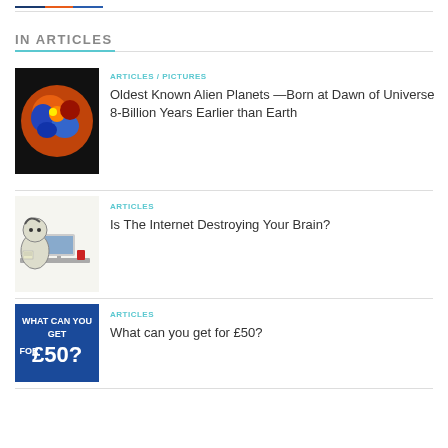[Figure (photo): Partial top image strip — colorful space/astronomy image cropped at top]
IN ARTICLES
[Figure (photo): False-color image of a planet or astronomical body with orange, red, blue and yellow colors]
ARTICLES / PICTURES
Oldest Known Alien Planets —Born at Dawn of Universe 8-Billion Years Earlier than Earth
[Figure (illustration): Cartoon illustration of a person or creature sitting at a computer, internet/brain theme]
ARTICLES
Is The Internet Destroying Your Brain?
[Figure (photo): Blue advertisement image reading WHAT CAN YOU GET FOR £50?]
ARTICLES
What can you get for £50?